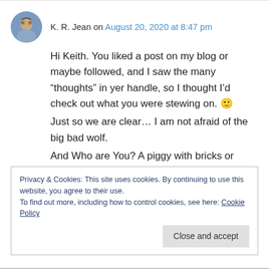K. R. Jean on August 20, 2020 at 8:47 pm
Hi Keith. You liked a post on my blog or maybe followed, and I saw the many “thoughts” in yer handle, so I thought I’d check out what you were stewing on. 🙂
Just so we are clear… I am not afraid of the big bad wolf.
And Who are You? A piggy with bricks or straw?
Privacy & Cookies: This site uses cookies. By continuing to use this website, you agree to their use.
To find out more, including how to control cookies, see here: Cookie Policy
Close and accept